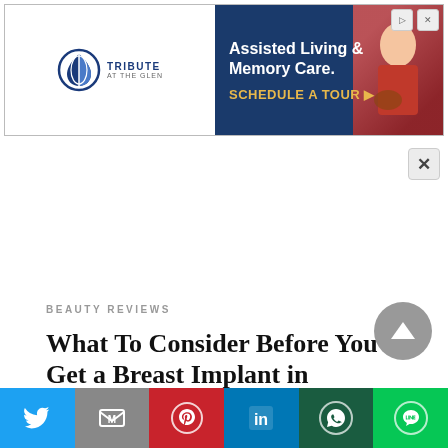[Figure (screenshot): Advertisement banner for Tribute at the Glen – Assisted Living & Memory Care with Schedule a Tour CTA and photo of elderly woman with dog]
×
BEAUTY REVIEWS
What To Consider Before You Get a Breast Implant in Singapore
[Figure (screenshot): Social media share bar with Twitter, Gmail, Pinterest, LinkedIn, WhatsApp, and LINE buttons]